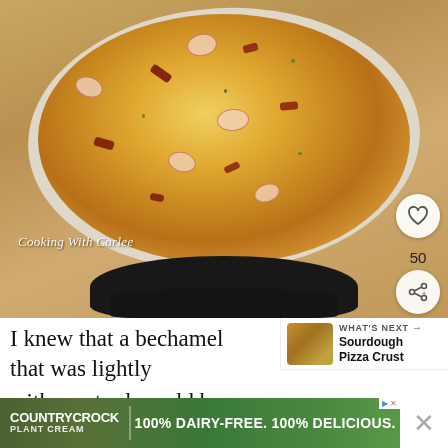[Figure (photo): Overhead photo of a round pizza with bechamel base, topped with sliced apples/pears, bacon bits, melted cheese, and fresh herbs, sitting on parchment paper over a cast iron skillet on a wooden surface. Watermark reads 'Cooking With Carlee'. Heart/save button with count 50 and share button visible on right side.]
[Figure (photo): Small thumbnail of sourdough pizza crust for 'What's Next' panel]
WHAT'S NEXT → Sourdough Pizza Crust
I knew that a bechamel that was lightly with mustard would be a great base. It is so
[Figure (infographic): Country Crock Plant Cream advertisement banner: '100% DAIRY-FREE. 100% DELICIOUS.']